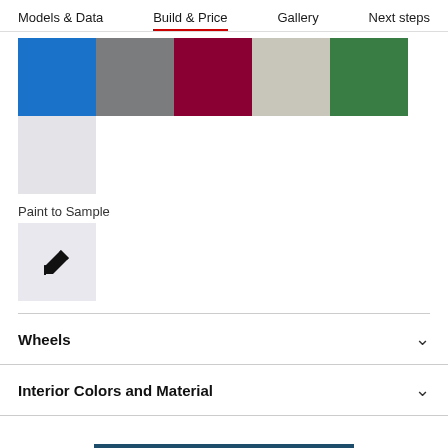Models & Data  Build & Price  Gallery  Next steps
[Figure (illustration): Color swatches showing six paint options: blue, dark gray, dark red/maroon, silver/light gray, green, and a light gray swatch below on second row. A separate Paint to Sample section shows a light gray box with a paint brush icon inside.]
Paint to Sample
Wheels
Interior Colors and Material
> Continue configuration